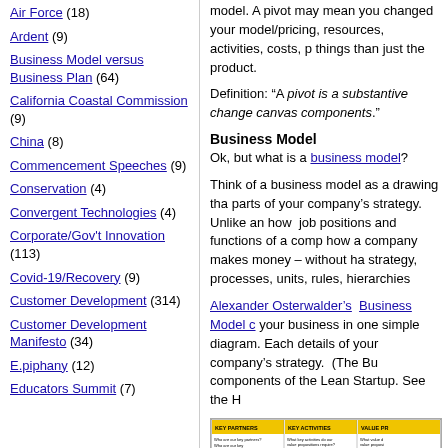Air Force (18)
Ardent (9)
Business Model versus Business Plan (64)
California Coastal Commission (9)
China (8)
Commencement Speeches (9)
Conservation (4)
Convergent Technologies (4)
Corporate/Gov't Innovation (113)
Covid-19/Recovery (9)
Customer Development (314)
Customer Development Manifesto (34)
E.piphany (12)
Educators Summit (7)
model. A pivot may mean you changed your model/pricing, resources, activities, costs, p things than just the product.
Definition: “A pivot is a substantive change canvas components.”
Business Model
Ok, but what is a business model?
Think of a business model as a drawing tha parts of your company’s strategy. Unlike an how job positions and functions of a comp how a company makes money – without ha strategy, processes, units, rules, hierarchies
Alexander Osterwalder’s Business Model c your business in one simple diagram. Each details of your company’s strategy. (The Bu components of the Lean Startup. See the H
[Figure (photo): Business Model Canvas diagram showing key sections: Key Partners, Key Activities, Value Proposition, Key Resources with yellow header cells and white content areas containing small text questions.]